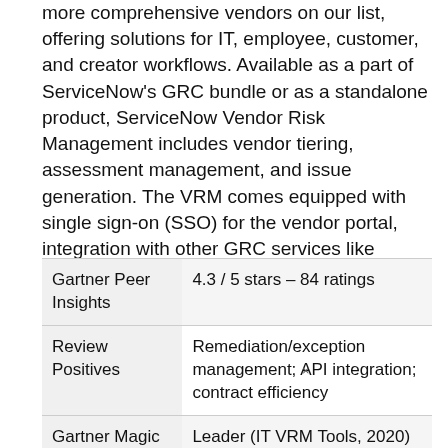more comprehensive vendors on our list, offering solutions for IT, employee, customer, and creator workflows. Available as a part of ServiceNow's GRC bundle or as a standalone product, ServiceNow Vendor Risk Management includes vendor tiering, assessment management, and issue generation. The VRM comes equipped with single sign-on (SSO) for the vendor portal, integration with other GRC services like security scores, and vendor hierarchies showing parent-child and fourth-party relationships.=
|  |  |
| --- | --- |
| Gartner Peer Insights | 4.3 / 5 stars – 84 ratings |
| Review Positives | Remediation/exception management; API integration; contract efficiency |
| Gartner Magic | Leader (IT VRM Tools, 2020) |